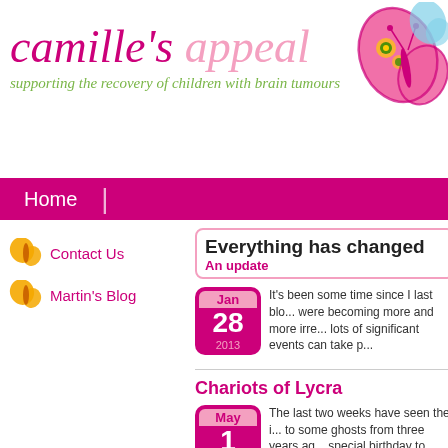camille's appeal
supporting the recovery of children with brain tumours
Home
Contact Us
Martin's Blog
Everything has changed
An update
It's been some time since I last blo... were becoming more and more irre... lots of significant events can take p...
Chariots of Lycra
The last two weeks have seen the i... to some ghosts from three years ag... special birthday to arrange.